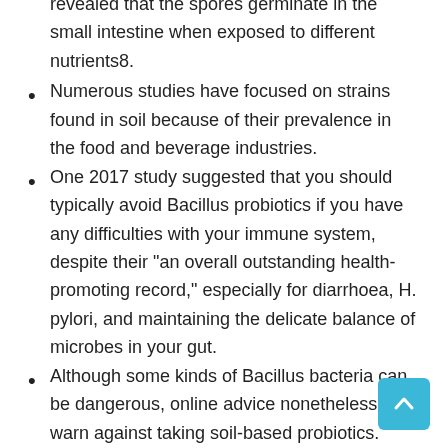revealed that the spores germinate in the small intestine when exposed to different nutrients8.
Numerous studies have focused on strains found in soil because of their prevalence in the food and beverage industries.
One 2017 study suggested that you should typically avoid Bacillus probiotics if you have any difficulties with your immune system, despite their "an overall outstanding health-promoting record," especially for diarrhoea, H. pylori, and maintaining the delicate balance of microbes in your gut.
Although some kinds of Bacillus bacteria can be dangerous, online advice nonetheless warn against taking soil-based probiotics.
This is due to the fact that they represent the